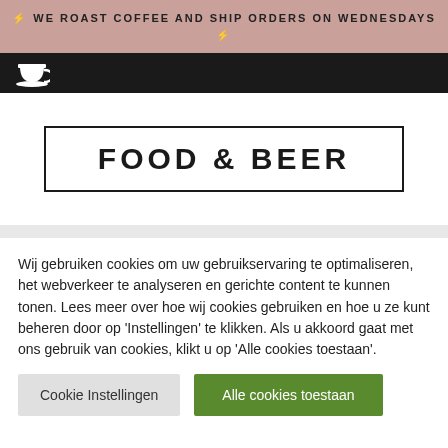⚡ WE ROAST COFFEE AND SHIP ORDERS ON WEDNESDAYS ⚡
[Figure (logo): White coffee cup icon on black navigation bar]
FOOD & BEER
Wij gebruiken cookies om uw gebruikservaring te optimaliseren, het webverkeer te analyseren en gerichte content te kunnen tonen. Lees meer over hoe wij cookies gebruiken en hoe u ze kunt beheren door op 'Instellingen' te klikken. Als u akkoord gaat met ons gebruik van cookies, klikt u op 'Alle cookies toestaan'.
Cookie Instellingen | Alle cookies toestaan